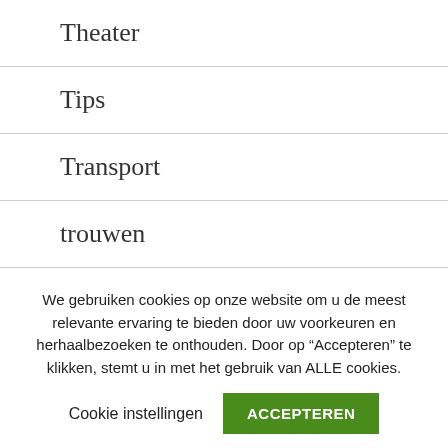Theater
Tips
Transport
trouwen
Tuin
Uit eten
We gebruiken cookies op onze website om u de meest relevante ervaring te bieden door uw voorkeuren en herhaalbezoeken te onthouden. Door op “Accepteren” te klikken, stemt u in met het gebruik van ALLE cookies.
Cookie instellingen
ACCEPTEREN